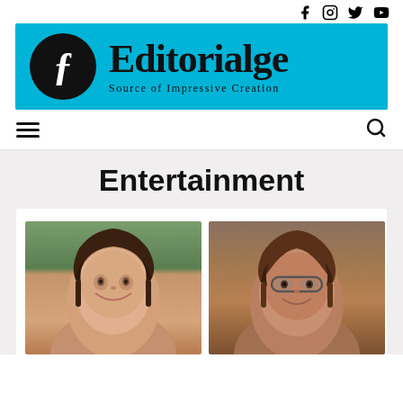Social media icons: Facebook, Instagram, Twitter, YouTube
[Figure (logo): Editorialge logo on cyan/blue background with gothic font text and circular emblem. Subtitle: Source of Impressive Creation]
Navigation bar with hamburger menu and search icon
Entertainment
[Figure (photo): Two women side by side smiling, one with dark hair on the left and one with glasses on the right]